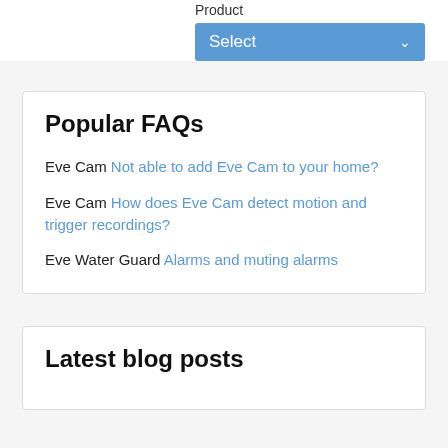Product
[Figure (screenshot): Blue dropdown selector button with text 'Select' and a chevron arrow on the right]
Popular FAQs
Eve Cam Not able to add Eve Cam to your home?
Eve Cam How does Eve Cam detect motion and trigger recordings?
Eve Water Guard Alarms and muting alarms
Latest blog posts